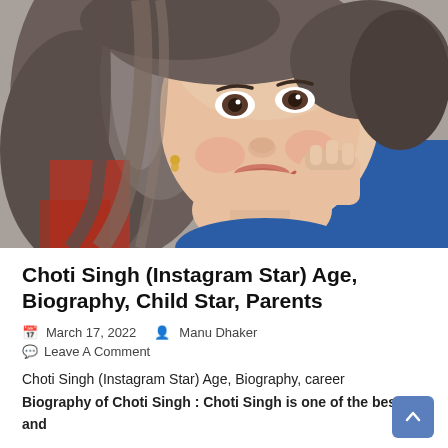[Figure (photo): Close-up selfie photo of a young woman (Choti Singh) smiling, with long hair, wearing a blue sweater, resting her chin on her hand against a blurred background.]
Choti Singh (Instagram Star) Age, Biography, Child Star, Parents
March 17, 2022   Manu Dhaker
Leave A Comment
Choti Singh (Instagram Star) Age, Biography, career Biography of Choti Singh : Choti Singh is one of the best and